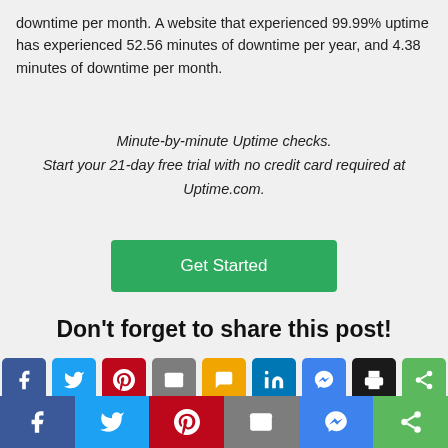downtime per month. A website that experienced 99.99% uptime has experienced 52.56 minutes of downtime per year, and 4.38 minutes of downtime per month.
Minute-by-minute Uptime checks. Start your 21-day free trial with no credit card required at Uptime.com.
[Figure (other): Green 'Get Started' button]
Don't forget to share this post!
[Figure (infographic): Row of social sharing icon buttons: Facebook, Twitter, Pinterest, Email, SMS, LinkedIn, Messenger, Print, Share]
[Figure (infographic): Bottom bar with social sharing buttons: Facebook, Twitter, Pinterest, Email, Messenger, Share]